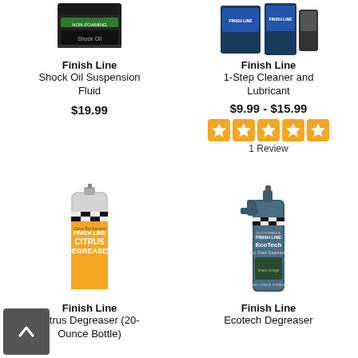[Figure (photo): Finish Line Shock Oil Suspension Fluid product bottle]
Finish Line
Shock Oil Suspension Fluid
$19.99
[Figure (photo): Finish Line 1-Step Cleaner and Lubricant product packaging]
Finish Line
1-Step Cleaner and Lubricant
$9.99 - $15.99
[Figure (other): 5 orange star rating icons]
1 Review
[Figure (photo): Finish Line Citrus Degreaser 20-Ounce Bottle spray can]
Finish Line
Citrus Degreaser (20-Ounce Bottle)
[Figure (photo): Finish Line Ecotech Degreaser spray bottle]
Finish Line
Ecotech Degreaser